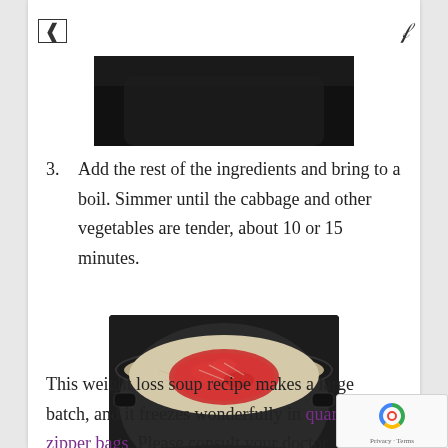[ ] fl
[Figure (photo): Partial photo of a dark background, appears to be top of a pot or cooking scene, cropped at top of page]
3. Add the rest of the ingredients and bring to a boil. Simmer until the cabbage and other vegetables are tender, about 10 or 15 minutes.
[Figure (photo): Photo of a large dark pot containing soup with shredded cabbage and red tomatoes on top, viewed from above on a dark surface]
This weight loss soup recipe makes a large batch, and it freezes wonderfully in quart-size zipper bags. Please consult your doctor